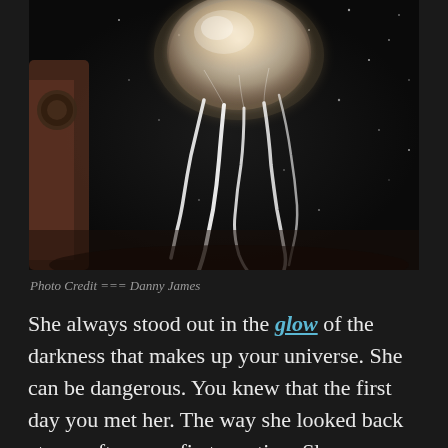[Figure (photo): A glowing jellyfish photographed against a dark background with small white dots resembling stars. The jellyfish has a luminous pale bell-shaped top and flowing white translucent tentacles trailing below. Dark surroundings with a reddish-brown structure visible on the left side.]
Photo Credit === Danny James
She always stood out in the glow of the darkness that makes up your universe. She can be dangerous. You knew that the first day you met her. The way she looked back at you after your first meeting. She was a magnet for your